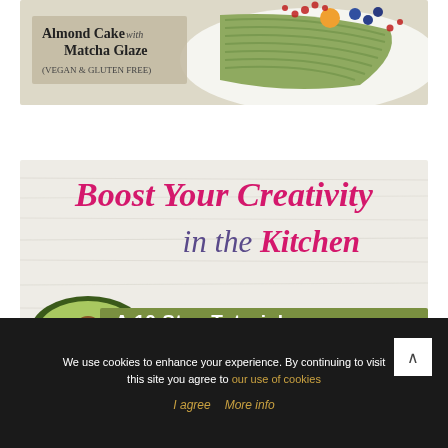[Figure (photo): Photo of an Almond Cake with Matcha Glaze decorated with fruits and berries, with a label overlay reading 'Almond Cake with Matcha Glaze (VEGAN & GLUTEN FREE)']
[Figure (infographic): Food blog promotional image showing 'Boost Your Creativity in the Kitchen - A 10 Step Tutorial To' text over a light wood background with a halved avocado and a green banner overlay]
We use cookies to enhance your experience. By continuing to visit this site you agree to our use of cookies
I agree  More info